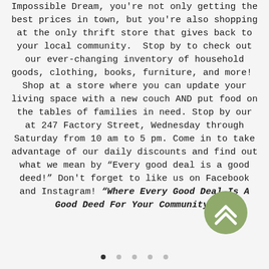Impossible Dream, you're not only getting the best prices in town, but you're also shopping at the only thrift store that gives back to your local community.  Stop by to check out our ever-changing inventory of household goods, clothing, books, furniture, and more!  Shop at a store where you can update your living space with a new couch AND put food on the tables of families in need. Stop by our at 247 Factory Street, Wednesday through Saturday from 10 am to 5 pm. Come in to take advantage of our daily discounts and find out what we mean by "Every good deal is a good deed!" Don't forget to like us on Facebook and Instagram! "Where Every Good Deal Is A Good Deed For Your Community"
[Figure (other): Green circular scroll-to-top button with double upward chevron arrows]
[Figure (other): Five pagination dots at the bottom, first dot is dark/active, remaining four are light grey]